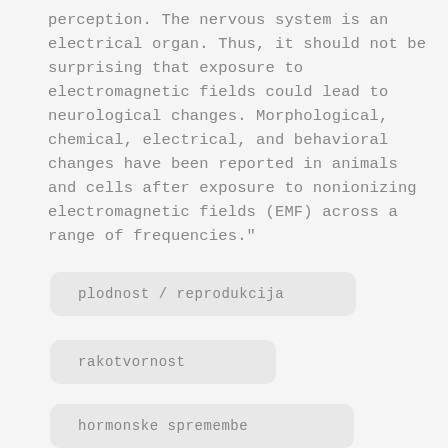perception. The nervous system is an electrical organ. Thus, it should not be surprising that exposure to electromagnetic fields could lead to neurological changes. Morphological, chemical, electrical, and behavioral changes have been reported in animals and cells after exposure to nonionizing electromagnetic fields (EMF) across a range of frequencies."
plodnost / reprodukcija
rakotvornost
hormonske spremembe